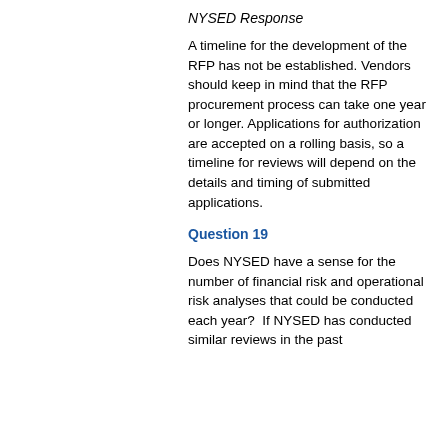NYSED Response
A timeline for the development of the RFP has not be established. Vendors should keep in mind that the RFP procurement process can take one year or longer. Applications for authorization are accepted on a rolling basis, so a timeline for reviews will depend on the details and timing of submitted applications.
Question 19
Does NYSED have a sense for the number of financial risk and operational risk analyses that could be conducted each year?  If NYSED has conducted similar reviews in the past